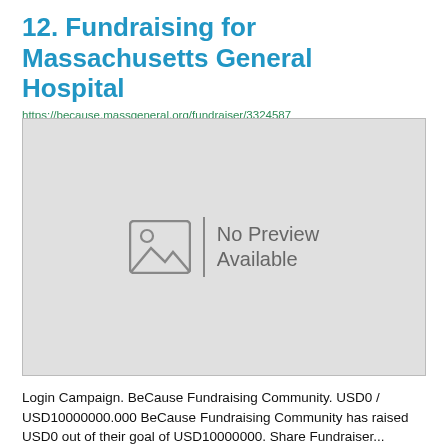12. Fundraising for Massachusetts General Hospital
https://because.massgeneral.org/fundraiser/3324587
[Figure (screenshot): No Preview Available placeholder image with a generic image icon and vertical divider bar]
Login Campaign. BeCause Fundraising Community. USD0 / USD10000000.000 BeCause Fundraising Community has raised USD0 out of their goal of USD10000000. Share Fundraiser... Massachusetts